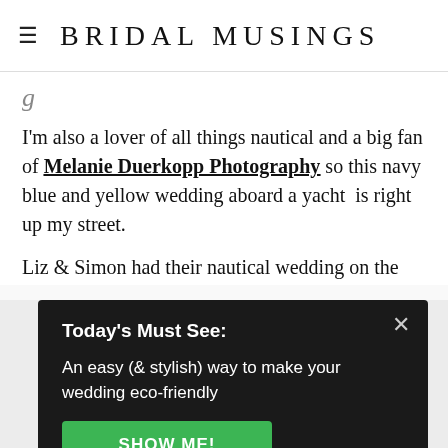BRIDAL MUSINGS
g
I'm also a lover of all things nautical and a big fan of Melanie Duerkopp Photography so this navy blue and yellow wedding aboard a yacht  is right up my street.
Liz & Simon had their nautical wedding on the
Today's Must See:
An easy (& stylish) way to make your wedding eco-friendly
SHOW ME!